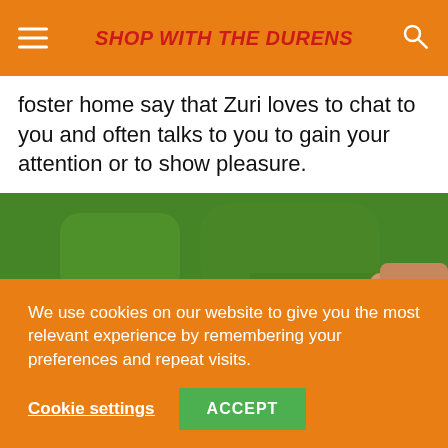SHOP WITH THE DURENS
foster home say that Zuri loves to chat to you and often talks to you to gain your attention or to show pleasure.
[Figure (photo): A dog (white/light colored, small breed) looking up at camera from grass background, with a person's arm/hand visible at the right edge.]
We use cookies on our website to give you the most relevant experience by remembering your preferences and repeat visits.